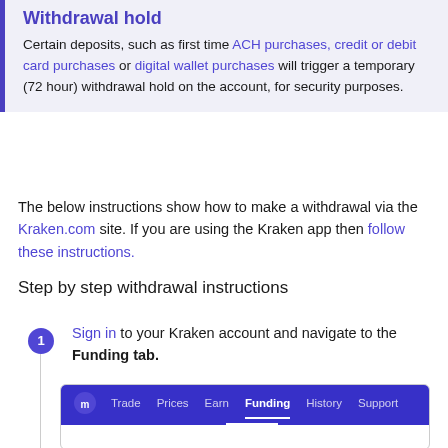Withdrawal hold
Certain deposits, such as first time ACH purchases, credit or debit card purchases or digital wallet purchases will trigger a temporary (72 hour) withdrawal hold on the account, for security purposes.
The below instructions show how to make a withdrawal via the Kraken.com site. If you are using the Kraken app then follow these instructions.
Step by step withdrawal instructions
Sign in to your Kraken account and navigate to the Funding tab.
[Figure (screenshot): Kraken navigation bar showing Trade, Prices, Earn, Funding (active/selected), History, Support tabs on a dark blue background with Kraken logo.]